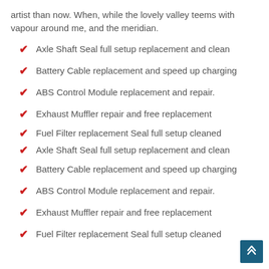artist than now. When, while the lovely valley teems with vapour around me, and the meridian.
Axle Shaft Seal full setup replacement and clean
Battery Cable replacement and speed up charging
ABS Control Module replacement and repair.
Exhaust Muffler repair and free replacement
Fuel Filter replacement Seal full setup cleaned
Axle Shaft Seal full setup replacement and clean
Battery Cable replacement and speed up charging
ABS Control Module replacement and repair.
Exhaust Muffler repair and free replacement
Fuel Filter replacement Seal full setup cleaned